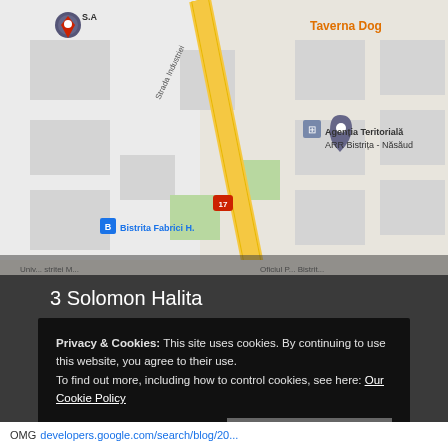[Figure (map): Google Maps screenshot showing Bistrita area in Romania, with a yellow road (route 17), a map pin for Agenția Teritorială ARR Bistrița - Năsăud, a blue bus stop icon for Bistrita Fabrici H., and orange text for Taverna Dog, location pin for S.A]
3 Solomon Halita
Bistrita 420185
Romania
+40751465703
Privacy & Cookies: This site uses cookies. By continuing to use this website, you agree to their use.
To find out more, including how to control cookies, see here: Our Cookie Policy
Close and accept
OMG developers.google.com/search/blog/20...